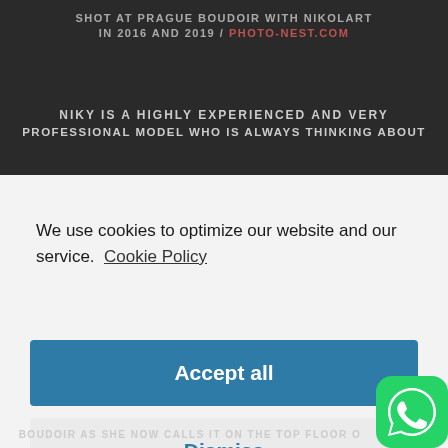SHOT AT PRAGUE BOUDOIR WITH NIKOLART IN 2016 AND 2019 / PHOTO-NEST.COM
NIKY IS A HIGHLY EXPERIENCED AND VERY PROFESSIONAL MODEL WHO IS ALWAYS THINKING ABOUT
We use cookies to optimize our website and our service.  Cookie Policy
Accept all
Dismiss
Preferences
[Figure (screenshot): WhatsApp contact button in bottom right corner]
BOUDOIR AS SHE NOW CALLS IT ON THE TOP FLOOR O...